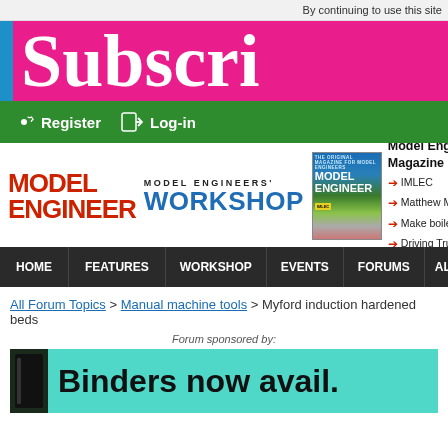By continuing to use this site
[Figure (screenshot): Subscribe banner in magenta/pink with blue left stripe and large white serif text reading 'Subscri' (cropped)]
[Figure (screenshot): Green navigation bar with gear icon Register and arrow icon Log-in]
[Figure (logo): MODEL ENGINEER logo in red bold text]
[Figure (logo): MODEL ENGINEERS' WORKSHOP logo in blue bold text]
[Figure (photo): Model Engineer magazine cover thumbnail]
Model Engineer Magazine
→ IMLEC
→ Matthew Mur
→ Make boiler f
→ Driving Truck
[Figure (screenshot): Dark navigation bar with HOME, FEATURES, WORKSHOP, EVENTS, FORUMS, ALB]
All Forum Topics > Manual machine tools > Myford induction hardened beds
Forum sponsored by:
[Figure (screenshot): Teal banner ad with dark binder book image and text 'Binders now avail.']